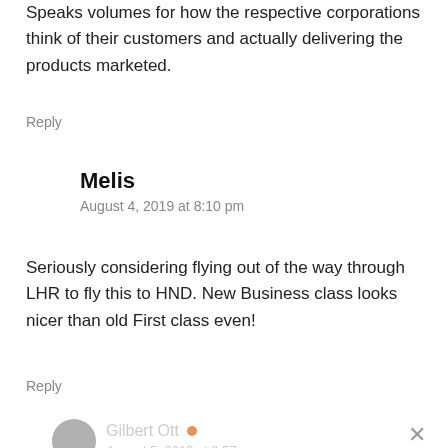Speaks volumes for how the respective corporations think of their customers and actually delivering the products marketed.
Reply
Melis
August 4, 2019 at 8:10 pm
Seriously considering flying out of the way through LHR to fly this to HND. New Business class looks nicer than old First class even!
Reply
Gilbert Ott  August 5, 2019 at 3:57 am